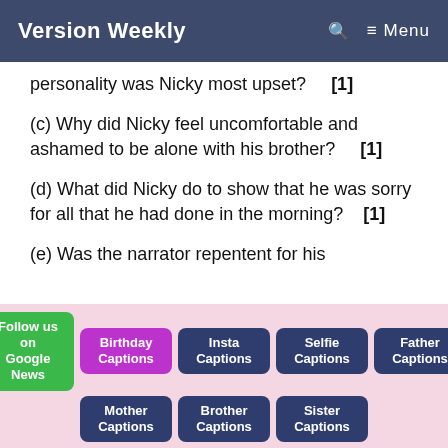Version Weekly   🔍   ≡ Menu
personality was Nicky most upset?    [1]
(c) Why did Nicky feel uncomfortable and ashamed to be alone with his brother?    [1]
(d) What did Nicky do to show that he was sorry for all that he had done in the morning?    [1]
(e) Was the narrator repentent for his
Follow us on Google News   Birthday Captions   Insta Captions   Selfie Captions   Father Captions   Mother Captions   Brother Captions   Sister Captions